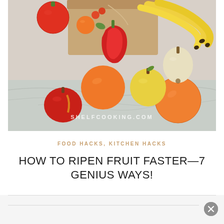[Figure (photo): Overhead photo of colorful fruits and vegetables spilling from a brown paper bag onto a marble surface: tomatoes, oranges, bananas, red pepper, apple, pear. Watermark text 'SHELFCOOKING.COM' overlaid.]
FOOD HACKS, KITCHEN HACKS
HOW TO RIPEN FRUIT FASTER—7 GENIUS WAYS!